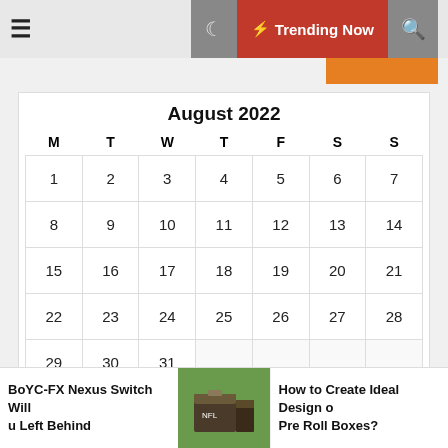≡  ☾  ⚡ Trending Now  🔍
| M | T | W | T | F | S | S |
| --- | --- | --- | --- | --- | --- | --- |
| 1 | 2 | 3 | 4 | 5 | 6 | 7 |
| 8 | 9 | 10 | 11 | 12 | 13 | 14 |
| 15 | 16 | 17 | 18 | 19 | 20 | 21 |
| 22 | 23 | 24 | 25 | 26 | 27 | 28 |
| 29 | 30 | 31 |  |  |  |  |
« Jul
BoYC-FX Nexus Switch Will u Left Behind
How to Create Ideal Design of Pre Roll Boxes?